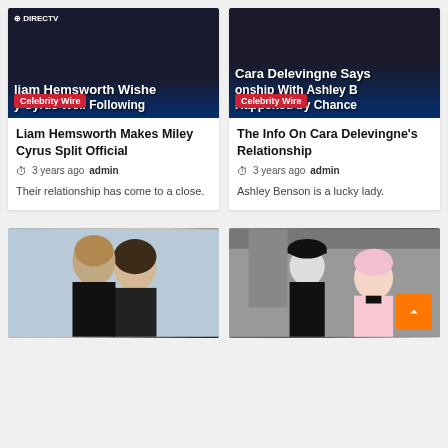[Figure (screenshot): Thumbnail for Liam Hemsworth article with dark blue overlay text reading 'liam Hemsworth Wishe / y Cyrus Well Following' and Celebrity Wire badge, DirecTV logo visible]
Liam Hemsworth Makes Miley Cyrus Split Official
3 years ago  admin
Their relationship has come to a close.
[Figure (screenshot): Thumbnail for Cara Delevingne article with dark overlay text reading 'Cara Delevingne Says / onship With Ashley B / Happened by Chance' and Celebrity Wire badge]
The Info On Cara Delevingne's Relationship
3 years ago  admin
Ashley Benson is a lucky lady.
[Figure (photo): Photo of a couple at an event - man in black suit and woman with long brown hair, NMENT tag visible]
[Figure (photo): Movie or TV show scene with man in black hat and suit and woman with pink/blonde bob haircut in pink outfit, scroll-to-top orange button visible]